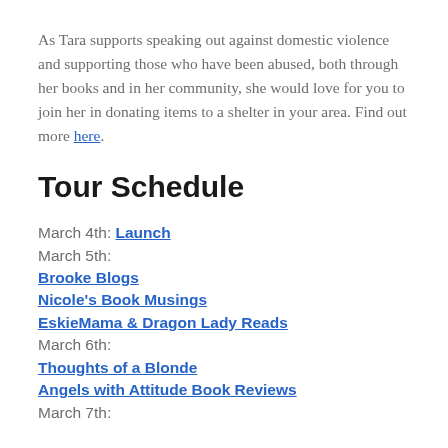As Tara supports speaking out against domestic violence and supporting those who have been abused, both through her books and in her community, she would love for you to join her in donating items to a shelter in your area. Find out more here.
Tour Schedule
March 4th: Launch
March 5th:
Brooke Blogs
Nicole's Book Musings
EskieMama & Dragon Lady Reads
March 6th:
Thoughts of a Blonde
Angels with Attitude Book Reviews
March 7th: